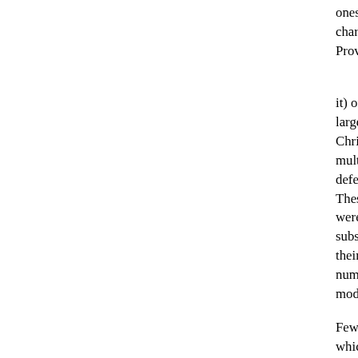ones connected with and subordinate to the character of the Primitive Church. Provincial and Patriarchal system.
It is not, indeed, to be supposed (if it) originated; but, at least, it is certain large dioceses are the characteristics where Christianity was rooted in a country; but multiplied throughout the ecclesiastical defenceless in the neighbourhood. These subordinate sees may be compared, were mere representatives of the substantive authorities, sovereign in their Metropolitan. The most permanent number of separate dioceses; the modern sense of the word.
Few persons, who have not expressed, which many parts of Christendom rural deaneries than what we now sees not above five or six miles from Naples contains 147 sees, of which yet in this country there were almost number of known dioceses amount